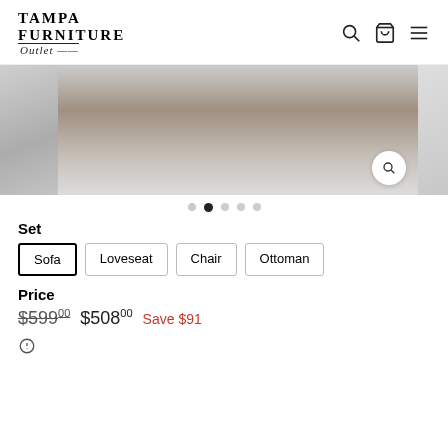[Figure (logo): Tampa Furniture Outlet logo with search, cart, and menu icons]
[Figure (photo): Product image carousel showing a rug/furniture item with magnify button, three side thumbnail strips visible]
• • • • •  (dot carousel indicators, second dot active)
Set
Sofa  Loveseat  Chair  Ottoman
Price
$59900  $50800  Save $91